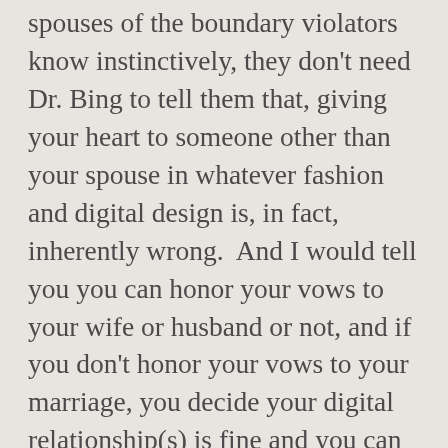spouses of the boundary violators know instinctively, they don't need Dr. Bing to tell them that, giving your heart to someone other than your spouse in whatever fashion and digital design is, in fact, inherently wrong.  And I would tell you you can honor your vows to your wife or husband or not, and if you don't honor your vows to your marriage, you decide your digital relationship(s) is fine and you can do whatever you want, just tell your spouse that so he or she can decide if they want to be married to a spouse who thinks the boundary in marriage is not a boundary at all but a figment of your imagination to be tossed to the wind any time your fickle heart desires.